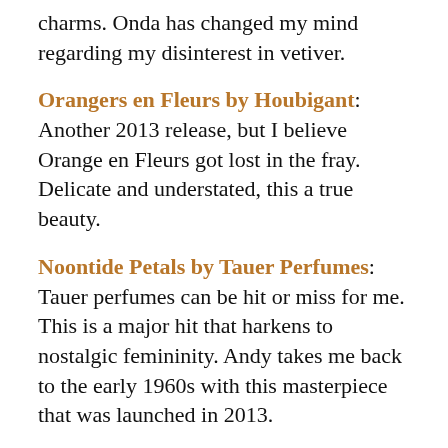charms.  Onda has changed my mind regarding my disinterest in vetiver.
Orangers en Fleurs by Houbigant:  Another 2013 release, but I believe Orange en Fleurs got lost in the fray.  Delicate and understated, this a true beauty.
Noontide Petals by Tauer Perfumes:  Tauer perfumes can be hit or miss for me.  This is a major hit that harkens to nostalgic femininity.  Andy takes me back to the early 1960s with this masterpiece that was launched in 2013.
Silver Iris by Atelier Cologne:  Released in 2013, I originally purchased Gold Leather and received a smaller bottle of Silver Iris as an added gift.  Out of the two fragrances, I have to say that Silver Iris has turned into the bigger winner for me.  I find that this is the perfect fragrance for the office as it's slightly sweet and